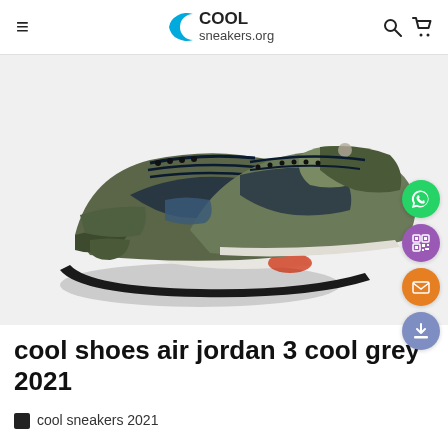COOL sneakers.org
[Figure (photo): Air Jordan 3 cool grey 2021 sneakers, shown from a front-angled view, featuring olive/grey/dark blue colorblocking with black laces and visible Air unit]
cool shoes air jordan 3 cool grey 2021
cool sneakers 2021